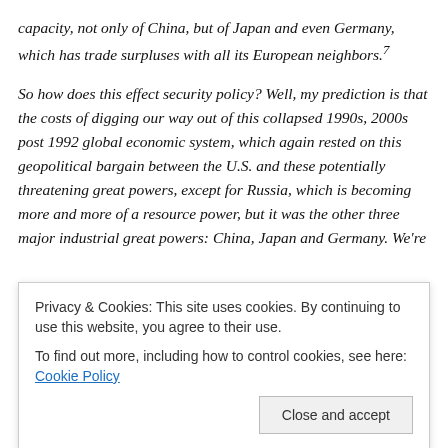capacity, not only of China, but of Japan and even Germany, which has trade surpluses with all its European neighbors.7
So how does this effect security policy? Well, my prediction is that the costs of digging our way out of this collapsed 1990s, 2000s post 1992 global economic system, which again rested on this geopolitical bargain between the U.S. and these potentially threatening great powers, except for Russia, which is becoming more and more of a resource power, but it was the other three major industrial great powers: China, Japan and Germany. We're
Privacy & Cookies: This site uses cookies. By continuing to use this website, you agree to their use.
To find out more, including how to control cookies, see here: Cookie Policy
Close and accept
who wrote a very good book setting forth what I think is